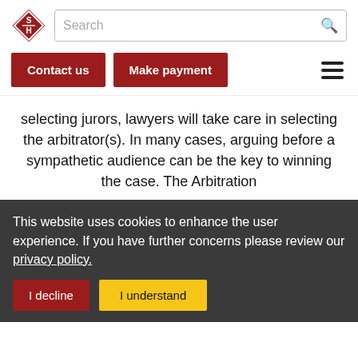[Figure (logo): SH diamond-shaped red and white logo]
selecting jurors, lawyers will take care in selecting the arbitrator(s). In many cases, arguing before a sympathetic audience can be the key to winning the case. The Arbitration
This website uses cookies to enhance the user experience. If you have further concerns please review our privacy policy.
I decline
I understand